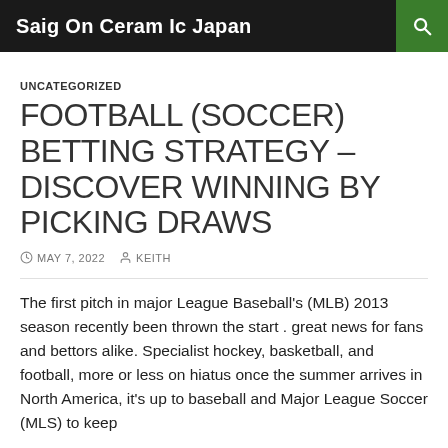Saig On Ceram Ic Japan
UNCATEGORIZED
FOOTBALL (SOCCER) BETTING STRATEGY – DISCOVER WINNING BY PICKING DRAWS
MAY 7, 2022   KEITH
The first pitch in major League Baseball's (MLB) 2013 season recently been thrown the start . great news for fans and bettors alike. Specialist hockey, basketball, and football, more or less on hiatus once the summer arrives in North America, it's up to baseball and Major League Soccer (MLS) to keep